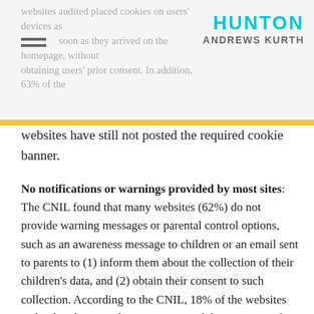websites audited placed cookies on users' devices as soon as they arrived on the homepage, without obtaining users' prior consent. In addition, 63% of the
[Figure (logo): Hunton Andrews Kurth law firm logo in cyan and grey]
websites have still not posted the required cookie banner.
No notifications or warnings provided by most sites: The CNIL found that many websites (62%) do not provide warning messages or parental control options, such as an awareness message to children or an email sent to parents to (1) inform them about the collection of their children's data, and (2) obtain their consent to such collection. According to the CNIL, 18% of the websites audited seek parental consent via a tick box, 15% verify the age of the user, 13% contain warning messages or notifications and 11%